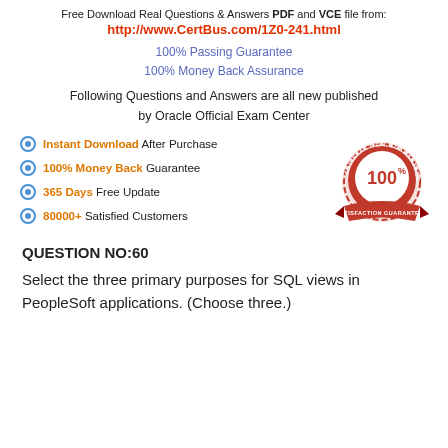Free Download Real Questions & Answers PDF and VCE file from:
http://www.CertBus.com/1Z0-241.html
100% Passing Guarantee
100% Money Back Assurance
Following Questions and Answers are all new published by Oracle Official Exam Center
Instant Download After Purchase
100% Money Back Guarantee
365 Days Free Update
80000+ Satisfied Customers
[Figure (illustration): Satisfaction Guaranteed badge with 100% stamp]
QUESTION NO:60
Select the three primary purposes for SQL views in PeopleSoft applications. (Choose three.)